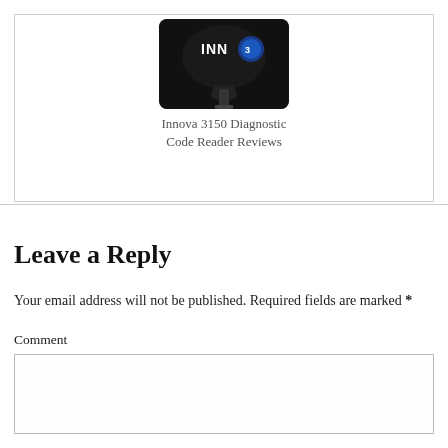[Figure (photo): Innova 3150 diagnostic code reader device, dark colored with blue accents, with OBD connector cable visible]
Innova 3150 Diagnostic Code Reader Reviews
Leave a Reply
Your email address will not be published. Required fields are marked *
Comment